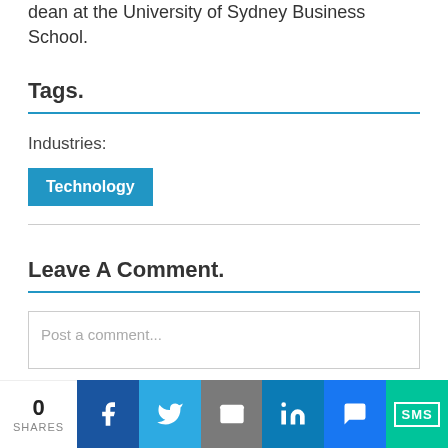dean at the University of Sydney Business School.
Tags.
Industries:
Technology
Leave A Comment.
Post a comment...
0 SHARES | Facebook | Twitter | Email | LinkedIn | Messenger | SMS